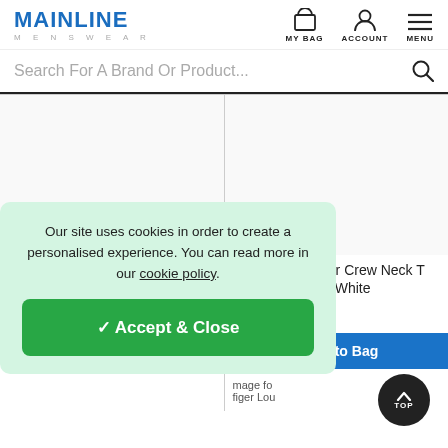MAINLINE MENSWEAR — MY BAG  ACCOUNT  MENU
Search For A Brand Or Product...
[Figure (screenshot): Product listing page showing two Tommy Hilfiger products side by side. Left: Tommy Hilfiger Outline Flag T Shirt White with Free Delivery badge. Right: Tommy Hilfiger Crew Neck T Shirt White priced at £31.00 (was £42.00) with Add to Bag button.]
Our site uses cookies in order to create a personalised experience. You can read more in our cookie policy.
✓ Accept & Close